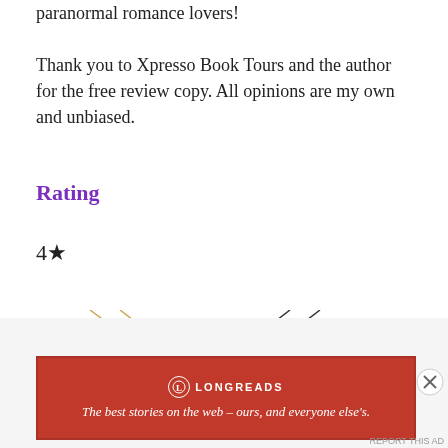paranormal romance lovers!
Thank you to Xpresso Book Tours and the author for the free review copy. All opinions are my own and unbiased.
Rating
4★
[Figure (illustration): Book cover showing 'RIVER STARR' in large serif text with diagonal line art design and a floral element at the bottom]
Advertisements
[Figure (other): Longreads advertisement banner in red with text: The best stories on the web – ours, and everyone else's.]